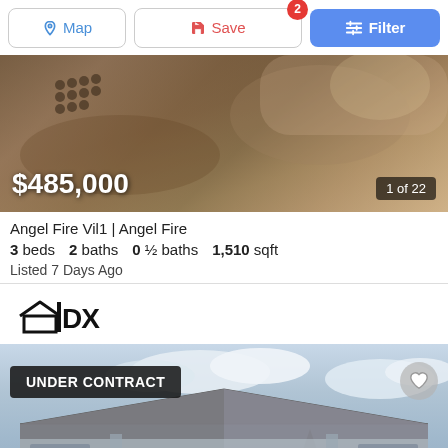[Figure (screenshot): Top navigation bar with Map, Save (badge 2), and Filter buttons]
[Figure (photo): Interior photo of a home showing dark wooden furniture and textiles, with price overlay $485,000 and photo counter 1 of 22]
Angel Fire Vil1 | Angel Fire
3 beds   2 baths   0 ½ baths   1,510 sqft
Listed 7 Days Ago
[Figure (logo): IDX logo — black bold letters with house outline]
[Figure (photo): Exterior photo of a light blue house with metal roof. UNDER CONTRACT badge overlay, heart button top right.]